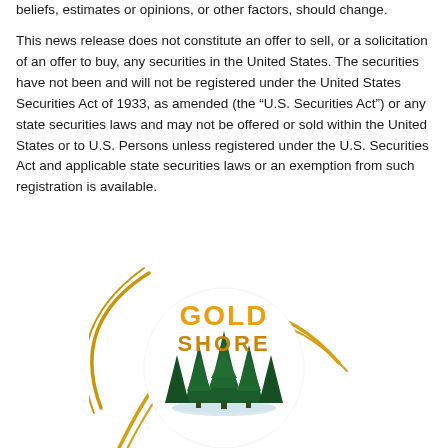beliefs, estimates or opinions, or other factors, should change.
This news release does not constitute an offer to sell, or a solicitation of an offer to buy, any securities in the United States. The securities have not been and will not be registered under the United States Securities Act of 1933, as amended (the “U.S. Securities Act”) or any state securities laws and may not be offered or sold within the United States or to U.S. Persons unless registered under the U.S. Securities Act and applicable state securities laws or an exemption from such registration is available.
[Figure (logo): Gold Shore Resources logo: circular design with gold arc lines, dark green pine trees silhouette in center, text 'GOLD SHORE' in gold/orange bold letters above the trees]